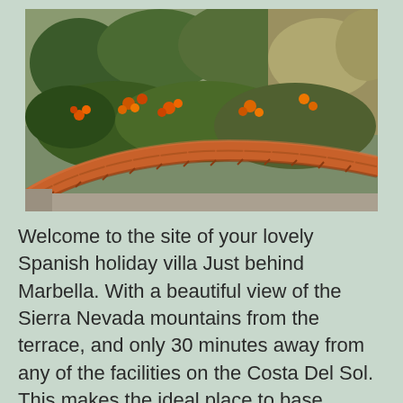[Figure (photo): A curved brick garden border/edging surrounding a flower bed with orange flowers (lantana) and green plants/grass, photographed from above at an angle. The bricks form a curved retaining border.]
Welcome to the site of your lovely Spanish holiday villa Just behind Marbella. With a beautiful view of the Sierra Nevada mountains from the terrace, and only 30 minutes away from any of the facilities on the Costa Del Sol. This makes the ideal place to base yourself and your family to enjoy the southern coast of